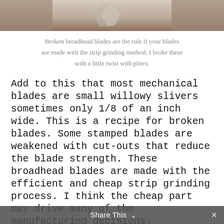[Figure (photo): Photo of broken broadhead blades, cropped at the top of the page]
Broken broadhead blades are the rule if your blades are made with the strip grinding method. I broke these with a little twist with pliers.
Add to this that most mechanical blades are small willowy slivers sometimes only 1/8 of an inch wide. This is a recipe for broken blades. Some stamped blades are weakened with cut-outs that reduce the blade strength. These broadhead blades are made with the efficient and cheap strip grinding process. I think the cheap part may drive many of the manufacturing decisions.
This may be economical and easy when making broadhead blades but brittle steel is bad. These strip ground blades are heat
Share This ˅  ×